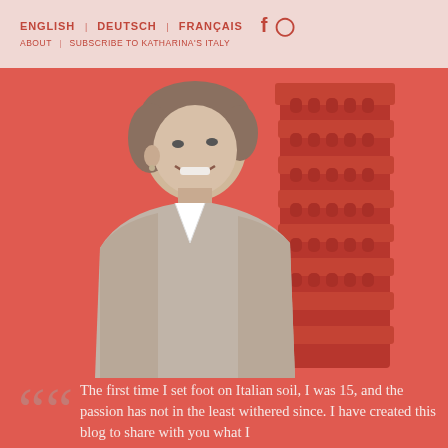ENGLISH | DEUTSCH | FRANÇAIS  [Facebook] [Instagram]
ABOUT | SUBSCRIBE TO KATHARINA'S ITALY
[Figure (photo): Black and white photo of a smiling woman overlaid on a red-tinted image of the Leaning Tower of Pisa, against a coral/red background]
““ The first time I set foot on Italian soil, I was 15, and the passion has not in the least withered since. I have created this blog to share with you what I